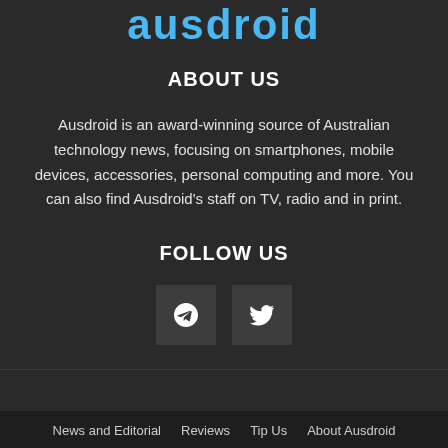ausdroid
ABOUT US
Ausdroid is an award-winning source of Australian technology news, focusing on smartphones, mobile devices, accessories, personal computing and more. You can also find Ausdroid's staff on TV, radio and in print.
FOLLOW US
[Figure (other): Two social media icon buttons: a Telegram icon and a Twitter bird icon, displayed as dark square buttons]
News and Editorial   Reviews   Tip Us   About Ausdroid